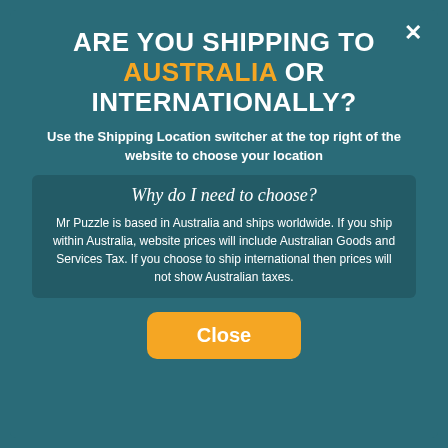ARE YOU SHIPPING TO AUSTRALIA OR INTERNATIONALLY?
Use the Shipping Location switcher at the top right of the website to choose your location
Why do I need to choose?
Mr Puzzle is based in Australia and ships worldwide. If you ship within Australia, website prices will include Australian Goods and Services Tax. If you choose to ship international then prices will not show Australian taxes.
Close